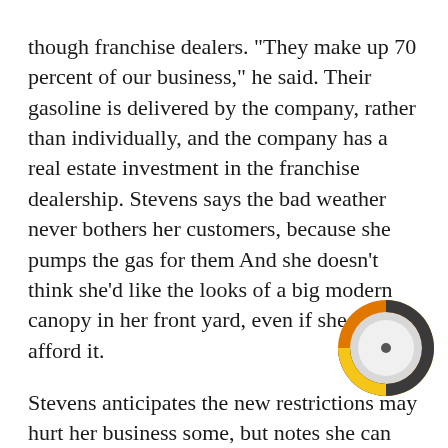though franchise dealers. "They make up 70 percent of our business," he said. Their gasoline is delivered by the company, rather than individually, and the company has a real estate investment in the franchise dealership. Stevens says the bad weather never bothers her customers, because she pumps the gas for them And she doesn't think she'd like the looks of a big modern canopy in her front yard, even if she could afford it.
Stevens anticipates the new restrictions may hurt her business some, but notes she can still accept Visa and Mastercard. She said, "Some salesmen that have to use a company card, won't stop," But she thinks her regular customers will stick by her. "They're mad," she said. "They can't believe they could do this to me."
[Figure (donut-chart): A small donut/pie chart icon with an orange outer ring, dark gray inner ring segment, and a light gray/white interior with a small dark center dot. Approximately 1/4 of the donut is filled in yellow/gold.]